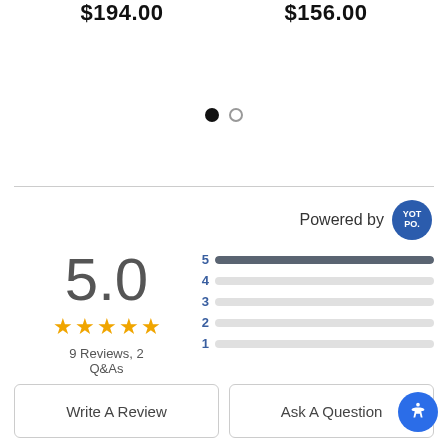$194.00   $156.00
[Figure (other): Carousel pagination dots: one filled black dot and one empty circle]
Powered by YOTPO
[Figure (other): Rating summary: 5.0 stars with 5 star bars. 5 bar filled, 4-1 empty. 9 Reviews, 2 Q&As]
Write A Review
Ask A Question